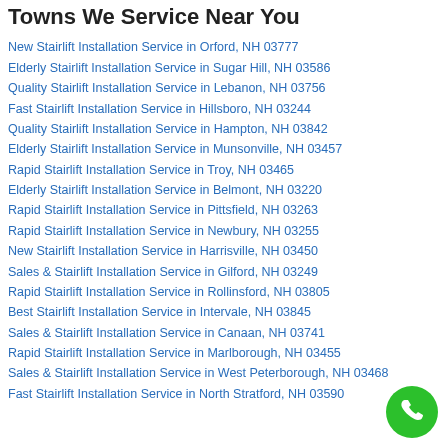Towns We Service Near You
New Stairlift Installation Service in Orford, NH 03777
Elderly Stairlift Installation Service in Sugar Hill, NH 03586
Quality Stairlift Installation Service in Lebanon, NH 03756
Fast Stairlift Installation Service in Hillsboro, NH 03244
Quality Stairlift Installation Service in Hampton, NH 03842
Elderly Stairlift Installation Service in Munsonville, NH 03457
Rapid Stairlift Installation Service in Troy, NH 03465
Elderly Stairlift Installation Service in Belmont, NH 03220
Rapid Stairlift Installation Service in Pittsfield, NH 03263
Rapid Stairlift Installation Service in Newbury, NH 03255
New Stairlift Installation Service in Harrisville, NH 03450
Sales & Stairlift Installation Service in Gilford, NH 03249
Rapid Stairlift Installation Service in Rollinsford, NH 03805
Best Stairlift Installation Service in Intervale, NH 03845
Sales & Stairlift Installation Service in Canaan, NH 03741
Rapid Stairlift Installation Service in Marlborough, NH 03455
Sales & Stairlift Installation Service in West Peterborough, NH 03468
Fast Stairlift Installation Service in North Stratford, NH 03590